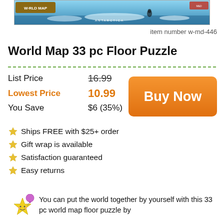[Figure (photo): Product image of World Map 33 pc Floor Puzzle box showing Antarctica]
item number w-md-446
World Map 33 pc Floor Puzzle
| List Price | 16.99 |
| Lowest Price | 10.99 |
| You Save | $6 (35%) |
[Figure (other): Buy Now orange button]
Ships FREE with $25+ order
Gift wrap is available
Satisfaction guaranteed
Easy returns
[Figure (illustration): Star mascot with balloon illustration]
You can put the world together by yourself with this 33 pc world map floor puzzle by